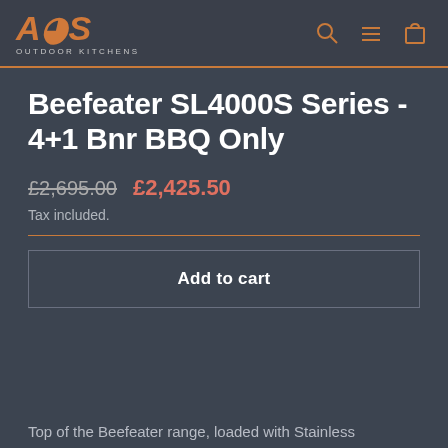AOS OUTDOOR KITCHENS
Beefeater SL4000S Series - 4+1 Bnr BBQ Only
£2,695.00  £2,425.50
Tax included.
Add to cart
Top of the Beefeater range, loaded with Stainless